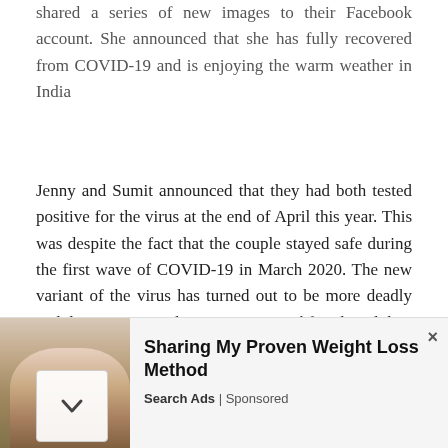shared a series of new images to their Facebook account. She announced that she has fully recovered from COVID-19 and is enjoying the warm weather in India
Jenny and Sumit announced that they had both tested positive for the virus at the end of April this year. This was despite the fact that the couple stayed safe during the first wave of COVID-19 in March 2020. The new variant of the virus has turned out to be more deadly and dangerous, so when 90 Day Fiancé fans heard they had tested positive, they were very concerned.
[Figure (photo): Two-panel photo: left panel shows a close-up of a man with a beard looking down outdoors with greenery behind him; right panel shows a woman in a red outfit taking a mirror selfie, waving at the camera.]
Sharing My Proven Weight Loss Method
Search Ads | Sponsored